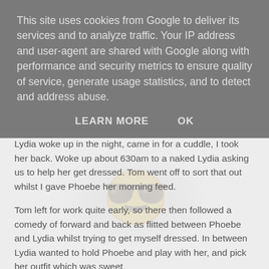This site uses cookies from Google to deliver its services and to analyze traffic. Your IP address and user-agent are shared with Google along with performance and security metrics to ensure quality of service, generate usage statistics, and to detect and address abuse.
LEARN MORE    OK
Lydia woke up in the night, came in for a cuddle, I took her back. Woke up about 630am to a naked Lydia asking us to help her get dressed. Tom went off to sort that out whilst I gave Phoebe her morning feed.
Tom left for work quite early, so there then followed a comedy of forward and back as flitted between Phoebe and Lydia whilst trying to get myself dressed. In between Lydia wanted to hold Phoebe and play with her, and pick her outfit which was sweet.
Lydia was dressed first and went to help herself to a croissant downstairs whilst I finished up. We've trained her to